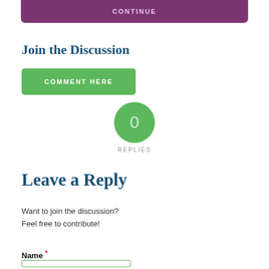[Figure (screenshot): Purple CONTINUE button at top of page, partially visible]
Join the Discussion
[Figure (screenshot): Green COMMENT HERE button]
[Figure (infographic): Green circle with 0 inside and REPLIES label below]
Leave a Reply
Want to join the discussion?
Feel free to contribute!
Name *